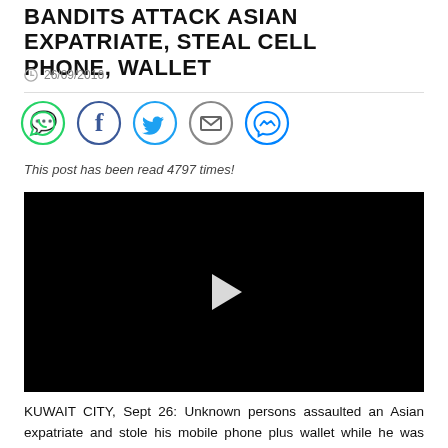BANDITS ATTACK ASIAN EXPATRIATE, STEAL CELL PHONE, WALLET
26/09/2016
[Figure (other): Social media share icons: WhatsApp (green circle), Facebook (dark blue circle), Twitter (blue circle), Email (grey circle), Messenger (blue circle)]
This post has been read 4797 times!
[Figure (other): Black video player with white play button triangle in the center]
KUWAIT CITY, Sept 26: Unknown persons assaulted an Asian expatriate and stole his mobile phone plus wallet while he was walking in Heeb Al-Shuvoukh area. The victim filed a complaint with